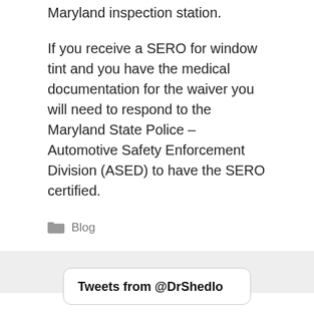Maryland inspection station.
If you receive a SERO for window tint and you have the medical documentation for the waiver you will need to respond to the Maryland State Police – Automotive Safety Enforcement Division (ASED) to have the SERO certified.
Blog
Tweets from @DrShedlo